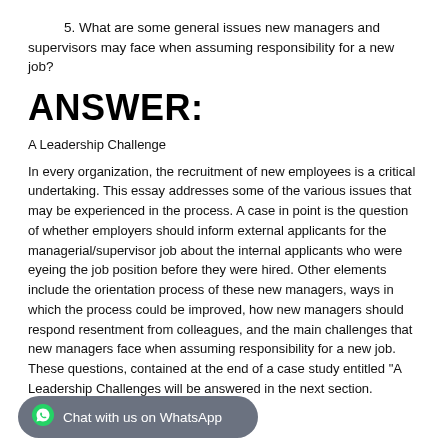5. What are some general issues new managers and supervisors may face when assuming responsibility for a new job?
ANSWER:
A Leadership Challenge
In every organization, the recruitment of new employees is a critical undertaking. This essay addresses some of the various issues that may be experienced in the process. A case in point is the question of whether employers should inform external applicants for the managerial/supervisor job about the internal applicants who were eyeing the job position before they were hired. Other elements include the orientation process of these new managers, ways in which the process could be improved, how new managers should respond resentment from colleagues, and the main challenges that new managers face when assuming responsibility for a new job. These questions, contained at the end of a case study entitled "A Leadership Challenges will be answered in the next section.